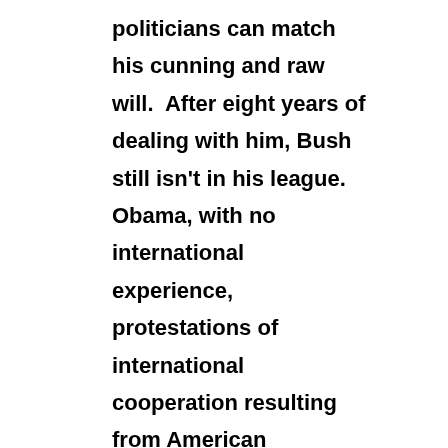politicians can match his cunning and raw will.  After eight years of dealing with him, Bush still isn't in his league. Obama, with no international experience, protestations of international cooperation resulting from American abdication to the right of unilateralism, waffling on steadfast American posturing and support for allies, and coming into office when Putin is